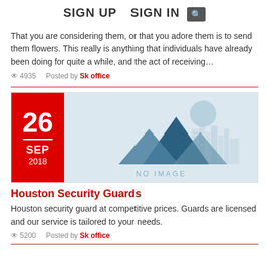SIGN UP   SIGN IN  [search]
That you are considering them, or that you adore them is to send them flowers. This really is anything that individuals have already been doing for quite a while, and the act of receiving…
👁 4935   Posted by Sk office
[Figure (illustration): No image placeholder with mountain/cityscape illustration]
Houston Security Guards
Houston security guard at competitive prices. Guards are licensed and our service is tailored to your needs.
👁 5200   Posted by Sk office